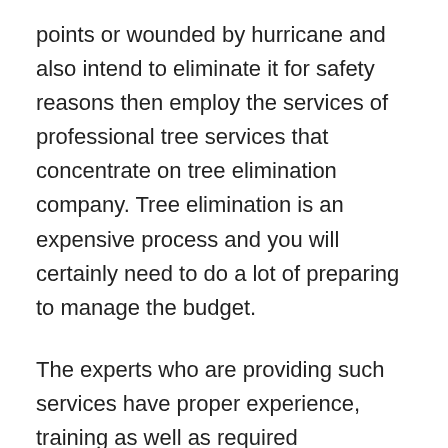points or wounded by hurricane and also intend to eliminate it for safety reasons then employ the services of professional tree services that concentrate on tree elimination company. Tree elimination is an expensive process and you will certainly need to do a lot of preparing to manage the budget.
The experts who are providing such services have proper experience, training as well as required equipments to shred down huge trees with full security, without triggering any kind of damage to your residential or commercial property. There are numerous cities where licensing for such services is compulsory. So it is always recommended to employ solutions of a certified business. You have to additionally inspect the service record and also